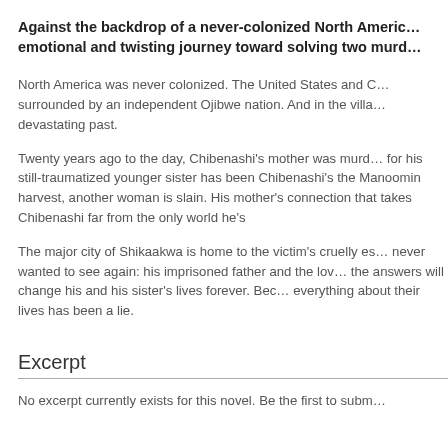Against the backdrop of a never-colonized North America... emotional and twisting journey toward solving two murd...
North America was never colonized. The United States and C... surrounded by an independent Ojibwe nation. And in the villa... devastating past.
Twenty years ago to the day, Chibenashi's mother was murd... for his still-traumatized younger sister has been Chibenashi's the Manoomin harvest, another woman is slain. His mother's connection that takes Chibenashi far from the only world he's
The major city of Shikaakwa is home to the victim's cruelly es... never wanted to see again: his imprisoned father and the lov... the answers will change his and his sister's lives forever. Bec... everything about their lives has been a lie.
Excerpt
No excerpt currently exists for this novel. Be the first to subm...